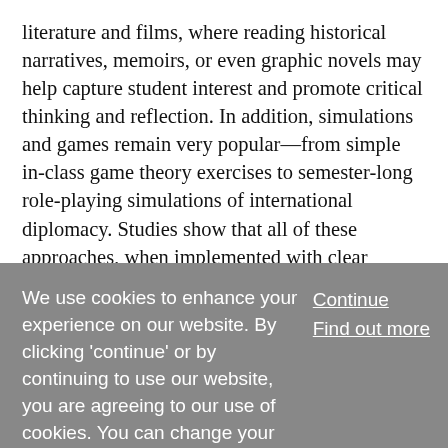literature and films, where reading historical narratives, memoirs, or even graphic novels may help capture student interest and promote critical thinking and reflection. In addition, simulations and games remain very popular—from simple in-class game theory exercises to semester-long role-playing simulations of international diplomacy. Studies show that all of these approaches, when implemented with clear educational objectives and intentionality, can promote student learning, interest, and retention of knowledge and perspectives. Finally, teacher-scholars have begun to embrace the importance of assessment and thoughtful reflection on the effectiveness of active teaching and learning techniques for the international studies classroom.
We use cookies to enhance your experience on our website. By clicking 'continue' or by continuing to use our website, you are agreeing to our use of cookies. You can change your cookie settings at any time.
Continue
Find out more